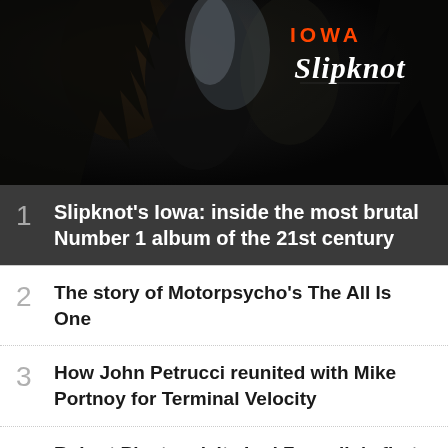[Figure (photo): Dark concert photo with shadowy figures, Slipknot Iowa album art style, with 'IOWA' in orange and 'Slipknot' logo in white in the upper right corner]
1 Slipknot's Iowa: inside the most brutal Number 1 album of the 21st century
2 The story of Motorpsycho's The All Is One
3 How John Petrucci reunited with Mike Portnoy for Terminal Velocity
4 Robert Plant revisits Led Zeppelin's first rehearsal: "I knew that I was in a room full of giants"